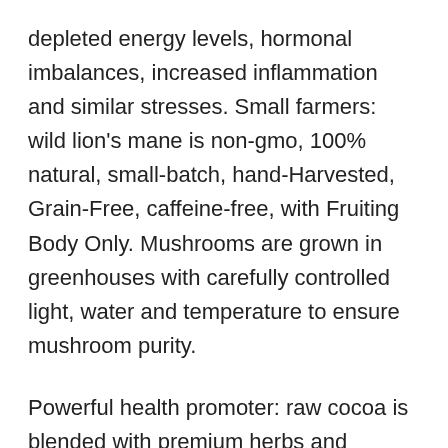depleted energy levels, hormonal imbalances, increased inflammation and similar stresses. Small farmers: wild lion's mane is non-gmo, 100% natural, small-batch, hand-Harvested, Grain-Free, caffeine-free, with Fruiting Body Only. Mushrooms are grown in greenhouses with carefully controlled light, water and temperature to ensure mushroom purity.
Powerful health promoter: raw cocoa is blended with premium herbs and mushroom powders to make a delicious, focus, nutritionally dense and mentally potent drink to support cognition, immunity and health!. Premium quality the wild way: every batch of raw material is quality tested for heavy metal and microbial contamination and purity.